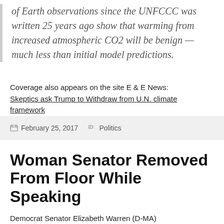of Earth observations since the UNFCCC was written 25 years ago show that warming from increased atmospheric CO2 will be benign — much less than initial model predictions.
Coverage also appears on the site E & E News: Skeptics ask Trump to Withdraw from U.N. climate framework
February 25, 2017   Politics
Woman Senator Removed From Floor While Speaking
Democrat Senator Elizabeth Warren (D-MA)